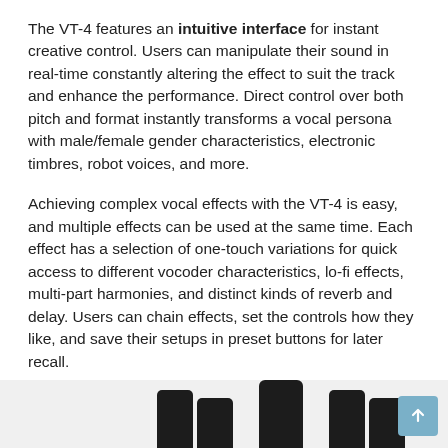The VT-4 features an intuitive interface for instant creative control. Users can manipulate their sound in real-time constantly altering the effect to suit the track and enhance the performance. Direct control over both pitch and format instantly transforms a vocal persona with male/female gender characteristics, electronic timbres, robot voices, and more.
Achieving complex vocal effects with the VT-4 is easy, and multiple effects can be used at the same time. Each effect has a selection of one-touch variations for quick access to different vocoder characteristics, lo-fi effects, multi-part harmonies, and distinct kinds of reverb and delay. Users can chain effects, set the controls how they like, and save their setups in preset buttons for later recall.
[Figure (photo): Partial view of VT-4 hardware knobs/controls at bottom of page, dark colored rotary knobs visible, with a blue scroll-to-top button in the bottom right corner.]